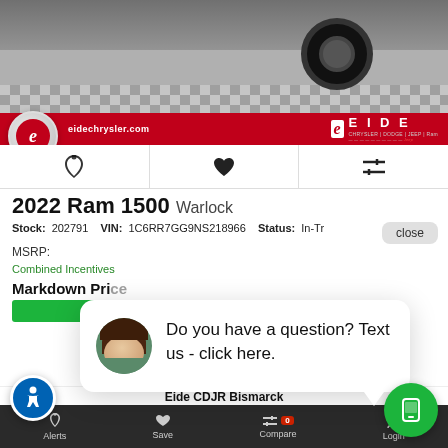[Figure (photo): Car dealership photo showing black truck tire/wheel on checkered floor with Eide Chrysler dealer banner below]
eidechrysler.com
EIDE CHRYSLER | DODGE | JEEP | Ram
2022 Ram 1500 Warlock
Stock: 202791   VIN: 1C6RR7GG9NS218966   Status: In-Tr...
close
MSRP:
Combined Incentives
Markdown Pri...
[Figure (photo): Chat popup with female avatar. Text reads: Do you have a question? Text us - click here.]
Do you have a question? Text us - click here.
Eide CDJR Bismarck
Alerts   Save   Compare 0   Login